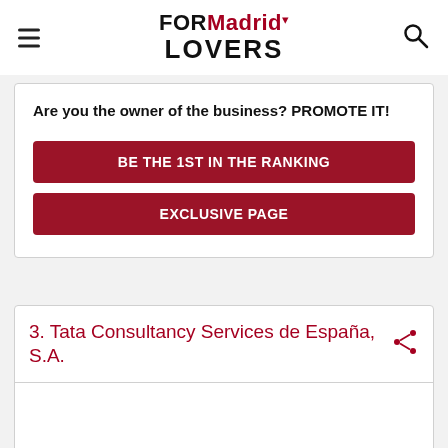FORMadrid LOVERS
Are you the owner of the business? PROMOTE IT!
BE THE 1ST IN THE RANKING
EXCLUSIVE PAGE
3. Tata Consultancy Services de España, S.A.